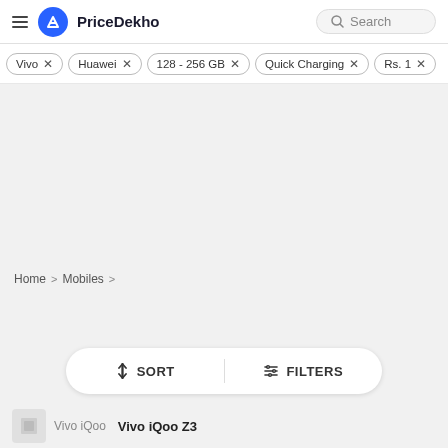PriceDekho — Search
Vivo ×
Huawei ×
128 - 256 GB ×
Quick Charging ×
Rs. 1 ×
Home  >  Mobiles  >
↕ SORT    ⋮ FILTERS
Vivo iQoo    Vivo iQoo Z3